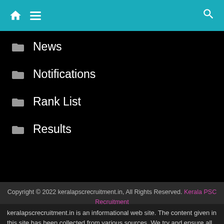[Figure (screenshot): Website navigation header bar with teal/cyan background, home icon, hamburger menu icon on left, and search icon on right]
News
Notifications
Rank List
Results
Copyright © 2022 keralapscrecruitment.in, All Rights Reserved. Kerala PSC Recruitment
keralapscrecruitment.in is an informational web site. The content given in this site has been collected from various sources. We try and ensure all the information contained on the website is accurate and up to date. We do not hold any responsibility of miscommunication or mismatching of information.